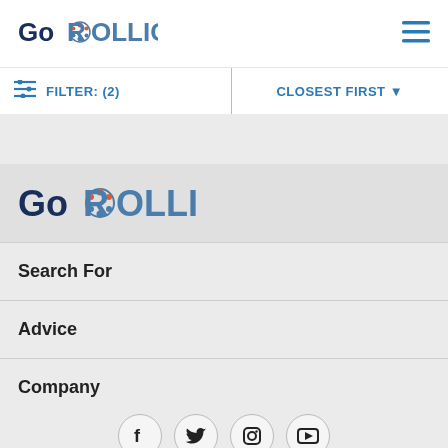[Figure (logo): GoROLLICK logo in top navigation bar]
[Figure (other): Hamburger menu icon (three horizontal lines) in top right]
FILTER: (2)
CLOSEST FIRST
[Figure (logo): GoROLLICK logo in drawer overlay]
Search For
Advice
Company
More
[Figure (other): Social media icons: Facebook, Twitter, Instagram, YouTube]